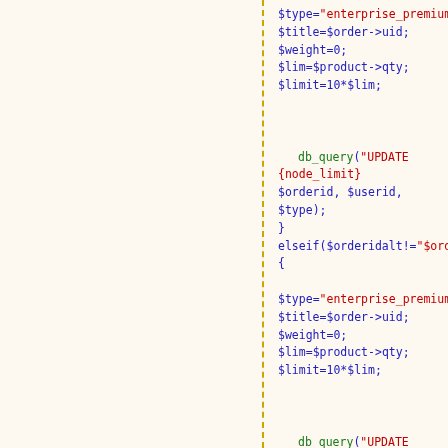[Figure (screenshot): PHP source code snippet showing variable assignments and db_query calls with elseif block, syntax-highlighted in blue, red, and green on a cream background with a dashed yellow-gold vertical line on the left.]